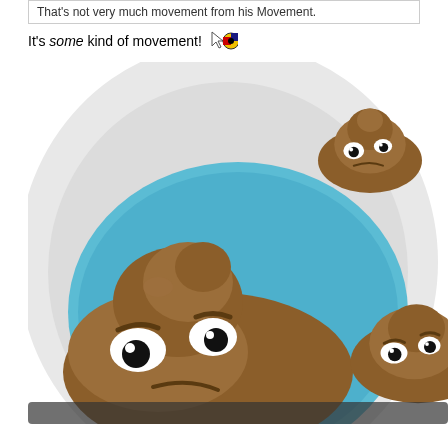That's not very much movement from his Movement.
It's some kind of movement!
[Figure (photo): Humorous image of animated poop emojis with grumpy faces in a toilet bowl with blue water. Large poop emoji in foreground looks angry, smaller one in upper right, another partially visible on lower right.]